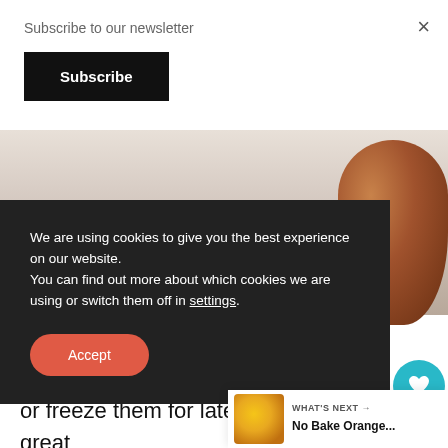Subscribe to our newsletter
Subscribe
[Figure (photo): Food photo background with copper bowl partially visible on right side]
We are using cookies to give you the best experience on our website.
You can find out more about which cookies we are using or switch them off in settings.
Accept
...gan ...r free. ...n only s ...he ov or freeze them for later use, these are great ... snacking and are delicious for breakf... you are a chocolate fan just like me, then you must try my vegan chocolate mousse. To ...
WHAT'S NEXT → No Bake Orange...